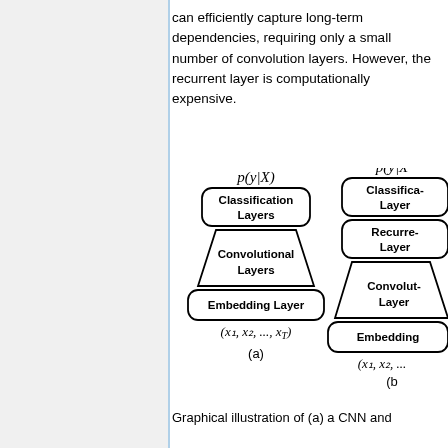can efficiently capture long-term dependencies, requiring only a small number of convolution layers. However, the recurrent layer is computationally expensive.
[Figure (engineering-diagram): Graphical illustration of (a) a CNN architecture diagram showing p(y|X) at top, Classification Layers box, Convolutional Layers trapezoid, Embedding Layer box, and (x1, x2, ..., xT) at bottom, labeled (a). Partially visible (b) diagram on right showing similar structure with Recurrent Layer added.]
Graphical illustration of (a) a CNN and